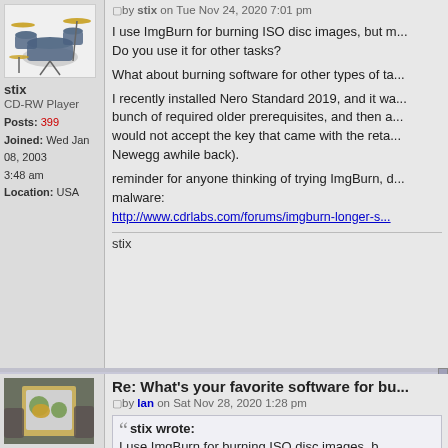[Figure (photo): Avatar image of a drum kit (stix user avatar)]
stix
CD-RW Player
Posts: 399
Joined: Wed Jan 08, 2003 3:48 am
Location: USA
by stix on Tue Nov 24, 2020 7:01 pm
I use ImgBurn for burning ISO disc images, but m... Do you use it for other tasks?

What about burning software for other types of ta...

I recently installed Nero Standard 2019, and it wa... bunch of required older prerequisites, and then a... would not accept the key that came with the reta... Newegg awhile back).

reminder for anyone thinking of trying ImgBurn, d... malware:
http://www.cdrlabs.com/forums/imgburn-longer-s...
stix
[Figure (photo): Avatar photo of a person holding a box/product in front of their face]
Re: What's your favorite software for bu...
by Ian on Sat Nov 28, 2020 1:28 pm
stix wrote:
I use ImgBurn for burning ISO disc images, b... Do you use it for other tasks?